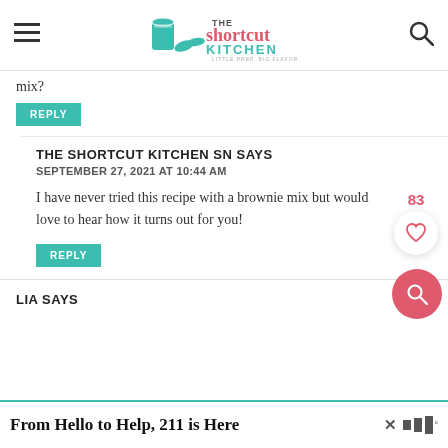The Shortcut Kitchen
mix?
REPLY
THE SHORTCUT KITCHEN SN SAYS
SEPTEMBER 27, 2021 AT 10:44 AM
I have never tried this recipe with a brownie mix but would love to hear how it turns out for you!
REPLY
LIA SAYS
From Hello to Help, 211 is Here